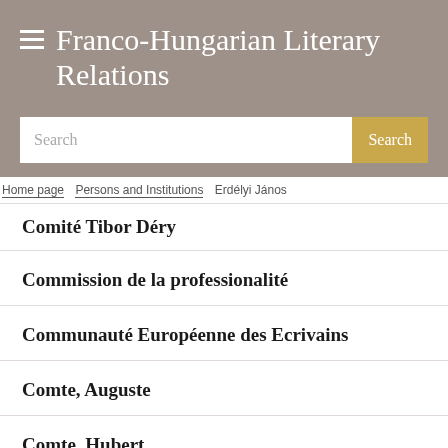Franco-Hungarian Literary Relations
Search
Home page > Persons and Institutions > Erdélyi János
Comité Tibor Déry
Commission de la professionalité
Communauté Européenne des Ecrivains
Comte, Auguste
Comte, Hubert